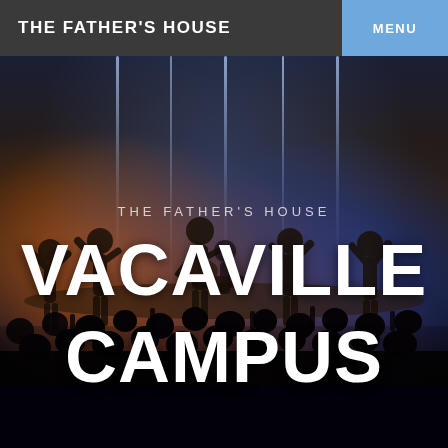THE FATHER'S HOUSE
MENU
[Figure (photo): Worship band performing on a church stage with dramatic blue and orange stage lighting, vertical light strips, and an audience with raised hands in the foreground]
THE FATHER'S HOUSE VACAVILLE CAMPUS